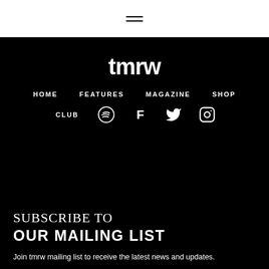[Figure (other): Hamburger menu icon — three horizontal lines]
tmrw
HOME  FEATURES  MAGAZINE  SHOP
CLUB  [Spotify]  [Facebook]  [Twitter]  [Instagram]
SUBSCRIBE TO
OUR MAILING LIST
Join tmrw mailing list to receive the latest news and updates.